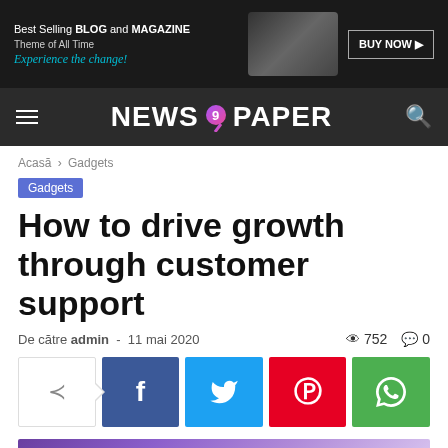[Figure (screenshot): Banner advertisement: dark background with text 'Best Selling BLOG and MAGAZINE Theme of All Time / Experience the change!' and a 'BUY NOW' button, tablet image on right]
NEWS 9 PAPER — navigation bar with hamburger menu and search icon
Acasă › Gadgets
Gadgets
How to drive growth through customer support
De către admin - 11 mai 2020  752  0
[Figure (screenshot): Social share buttons: share icon, Facebook (f), Twitter (bird), Pinterest (P), WhatsApp]
[Figure (photo): Hero image with purple/violet gradient background, partially visible at bottom of page]